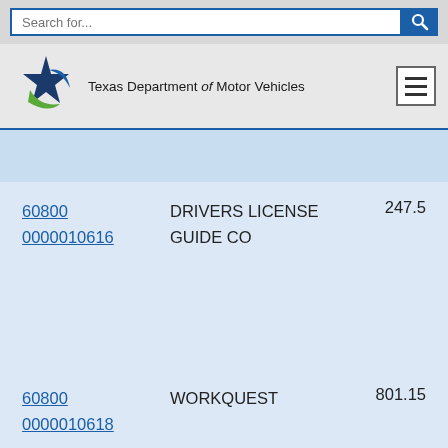Search for...
[Figure (logo): Texas Department of Motor Vehicles logo with star and swoosh, green and blue colors]
| ID | Name | Amount |
| --- | --- | --- |
| 60800 0000010616 | DRIVERS LICENSE GUIDE CO | 247.5 |
| 60800 0000010618 | WORKQUEST | 801.15 |